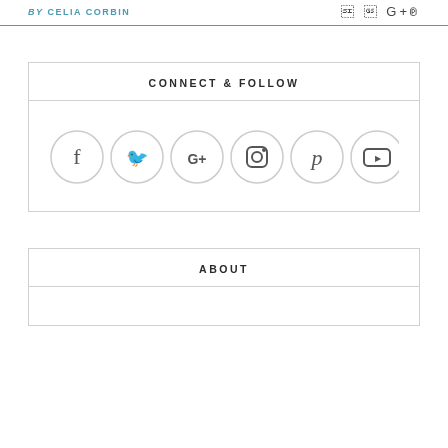by CELIA CORBIN
CONNECT & FOLLOW
[Figure (infographic): Row of 6 social media icon circles: Facebook, Twitter, Google+, Instagram, Pinterest, YouTube]
ABOUT